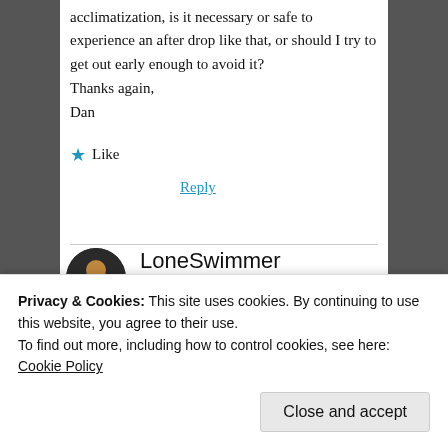acclimatization, is it necessary or safe to experience an after drop like that, or should I try to get out early enough to avoid it?
Thanks again,
Dan
Like
Reply
LoneSwimmer
October 22, 2018 at 11:10 am
Privacy & Cookies: This site uses cookies. By continuing to use this website, you agree to their use.
To find out more, including how to control cookies, see here: Cookie Policy
Close and accept